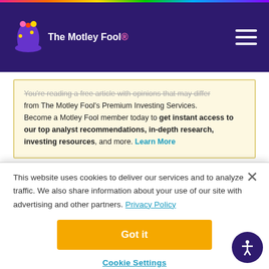The Motley Fool
You're reading a free article with opinions that may differ from The Motley Fool's Premium Investing Services. Become a Motley Fool member today to get instant access to our top analyst recommendations, in-depth research, investing resources, and more. Learn More
There's trouble at one of the
This website uses cookies to deliver our services and to analyze traffic. We also share information about your use of our site with advertising and other partners. Privacy Policy
Got it
Cookie Settings